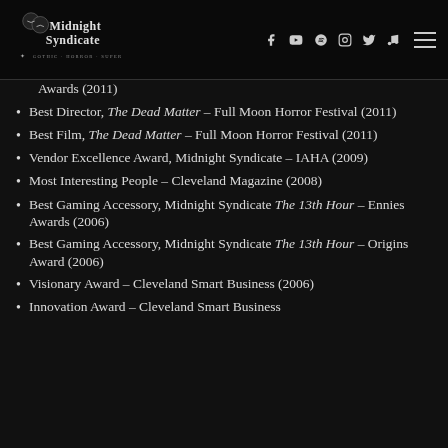Midnight Syndicate - navigation header with logo and social icons
Awards (2011)
Best Director, The Dead Matter – Full Moon Horror Festival (2011)
Best Film, The Dead Matter – Full Moon Horror Festival (2011)
Vendor Excellence Award, Midnight Syndicate – IAHA (2009)
Most Interesting People – Cleveland Magazine (2008)
Best Gaming Accessory, Midnight Syndicate The 13th Hour – Ennies Awards (2006)
Best Gaming Accessory, Midnight Syndicate The 13th Hour – Origins Award (2006)
Visionary Award – Cleveland Smart Business (2006)
Innovation Award – Cleveland Smart Business